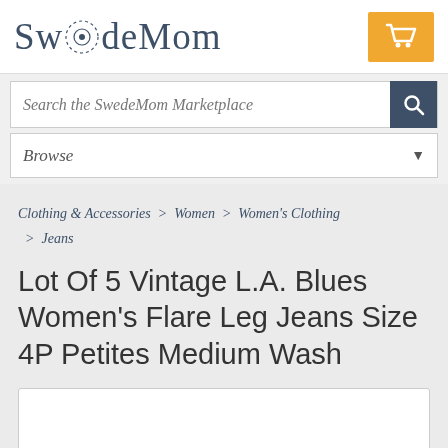SwedeMom
Search the SwedeMom Marketplace
Browse
Clothing & Accessories > Women > Women's Clothing > Jeans
Lot Of 5 Vintage L.A. Blues Women's Flare Leg Jeans Size 4P Petites Medium Wash
[Figure (photo): Product image placeholder (white box, partially visible at bottom of page)]